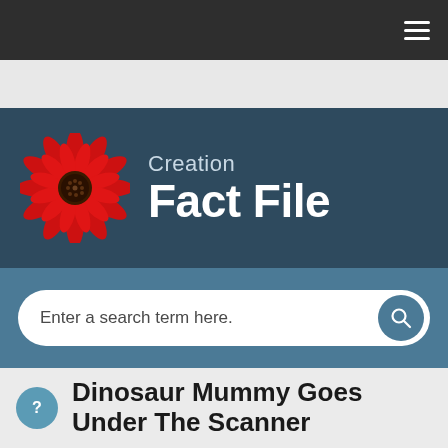Navigation bar with hamburger menu
[Figure (logo): Creation Fact File logo with red gerbera flower and white text on dark blue background]
Enter a search term here.
Dinosaur Mummy Goes Under The Scanner